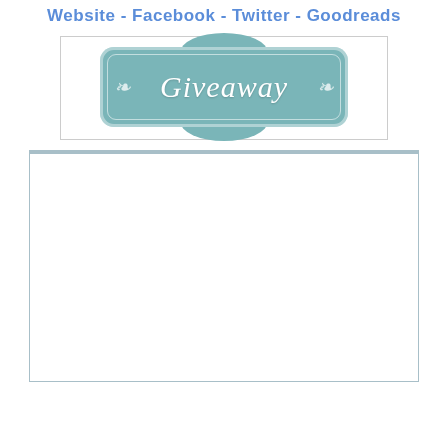Website - Facebook - Twitter - Goodreads
[Figure (illustration): A decorative 'Giveaway' sign badge in teal/green-blue color with ornate border, bump top and bottom, and script text reading 'Giveaway' in white italic font, inside a white-bordered rectangle.]
[Figure (screenshot): An embedded widget or form area — a large white rectangle with a teal top border, representing an embedded Rafflecopter or similar giveaway entry form.]